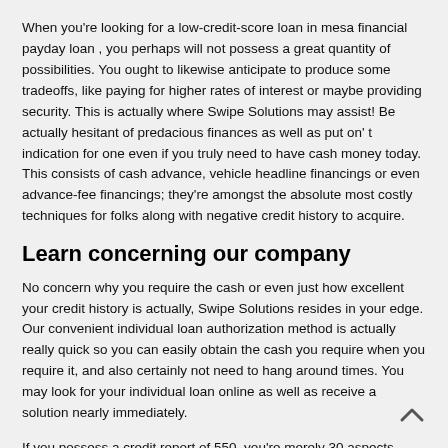When you're looking for a low-credit-score loan in mesa financial payday loan , you perhaps will not possess a great quantity of possibilities. You ought to likewise anticipate to produce some tradeoffs, like paying for higher rates of interest or maybe providing security. This is actually where Swipe Solutions may assist! Be actually hesitant of predacious finances as well as put on' t indication for one even if you truly need to have cash money today. This consists of cash advance, vehicle headline financings or even advance-fee financings; they're amongst the absolute most costly techniques for folks along with negative credit history to acquire.
Learn concerning our company
No concern why you require the cash or even just how excellent your credit history is actually, Swipe Solutions resides in your edge. Our convenient individual loan authorization method is actually really quick so you can easily obtain the cash you require when you require it, and also certainly not need to hang around times. You may look for your individual loan online as well as receive a solution nearly immediately.
If you possess a credit report of 550, you're merely 30 aspects coming from a « decent » credit rating. It could make good sense